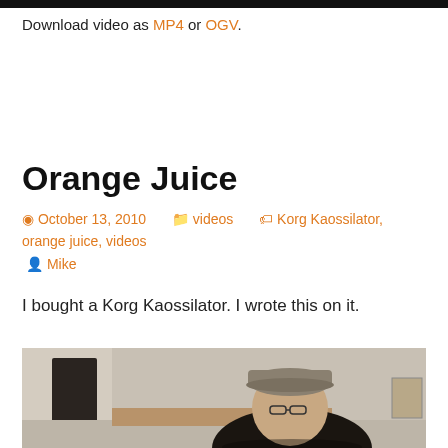[Figure (other): Black bar at top of page, partial video player]
Download video as MP4 or OGV.
Orange Juice
October 13, 2010   videos   Korg Kaossilator, orange juice, videos   Mike
I bought a Korg Kaossilator. I wrote this on it.
[Figure (photo): Video thumbnail showing a person wearing a cap and glasses, looking down, in a room]